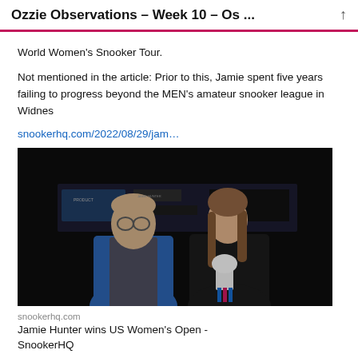Ozzie Observations – Week 10 – Os ...
World Women's Snooker Tour.
Not mentioned in the article: Prior to this, Jamie spent five years failing to progress beyond the MEN's amateur snooker league in Widnes
snookerhq.com/2022/08/29/jam…
[Figure (photo): Two people posing for a photo at a snooker event. A man on the left wearing glasses, a blue shirt and grey waistcoat, and a woman on the right in a dark jacket holding a trophy with a colourful ribbon.]
snookerhq.com
Jamie Hunter wins US Women's Open - SnookerHQ